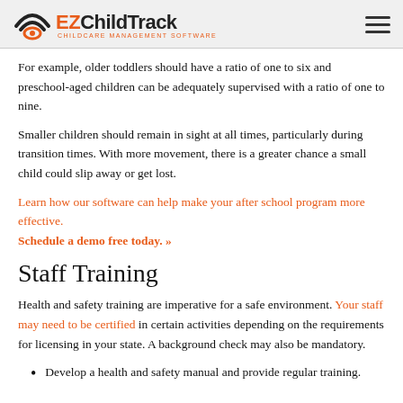EZChildTrack — Childcare Management Software
For example, older toddlers should have a ratio of one to six and preschool-aged children can be adequately supervised with a ratio of one to nine.
Smaller children should remain in sight at all times, particularly during transition times. With more movement, there is a greater chance a small child could slip away or get lost.
Learn how our software can help make your after school program more effective. Schedule a demo free today. »
Staff Training
Health and safety training are imperative for a safe environment. Your staff may need to be certified in certain activities depending on the requirements for licensing in your state. A background check may also be mandatory.
Develop a health and safety manual and provide regular training.